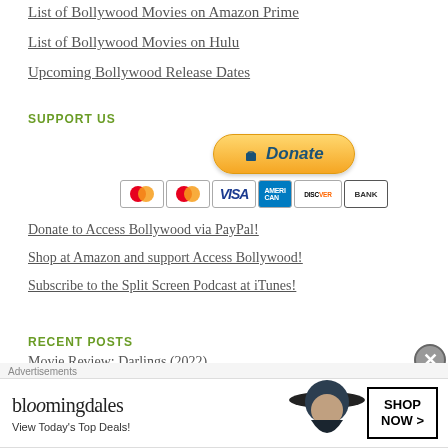List of Bollywood Movies on Amazon Prime
List of Bollywood Movies on Hulu
Upcoming Bollywood Release Dates
SUPPORT US
[Figure (other): PayPal Donate button with payment card icons (Maestro, MasterCard, Visa, American Express, Discover, Bank)]
Donate to Access Bollywood via PayPal!
Shop at Amazon and support Access Bollywood!
Subscribe to the Split Screen Podcast at iTunes!
RECENT POSTS
Movie Review: Darlings (2022)
Advertisements
[Figure (screenshot): Bloomingdale's advertisement banner: 'View Today's Top Deals! SHOP NOW >']